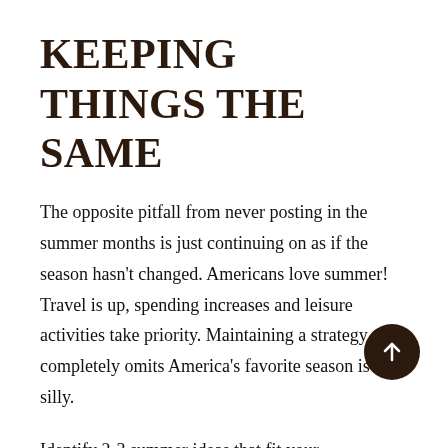KEEPING THINGS THE SAME
The opposite pitfall from never posting in the summer months is just continuing on as if the season hasn't changed. Americans love summer! Travel is up, spending increases and leisure activities take priority. Maintaining a strategy that completely omits America's favorite season is silly.
Identify 2-3 summer ideas that fit your organization and leverage these ideas on social media platforms. For example, if your organization is a college or university, why not create an initiative: See what your